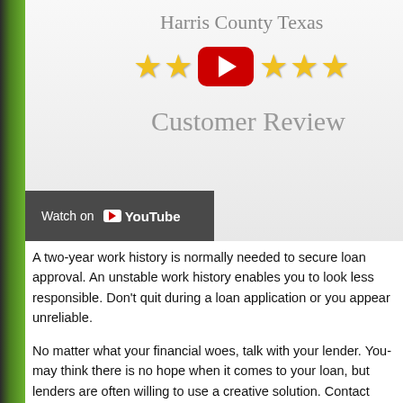[Figure (screenshot): YouTube video thumbnail showing 'Harris County Texas Customer Review' with five gold stars, a red YouTube play button in the center, and a 'Watch on YouTube' button at the bottom left. Background is light gray/white gradient.]
A two-year work history is normally needed to secure loan approval. An unstable work history enables you to look less responsible. Don't quit during a loan application or you appear unreliable.
No matter what your financial woes, talk with your lender. You may think there is no hope when it comes to your loan, but lenders are often willing to use a creative solution. Contact your provider and find out what choices available.
Find government programs to assist you should this be the initial home you are purchasing. You could find one which lowers closing costs, secure lower interest rates or accepts those with poorer credit histories.